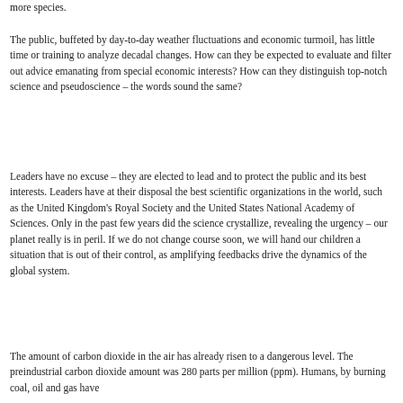more species.
The public, buffeted by day-to-day weather fluctuations and economic turmoil, has little time or training to analyze decadal changes. How can they be expected to evaluate and filter out advice emanating from special economic interests? How can they distinguish top-notch science and pseudoscience – the words sound the same?
Leaders have no excuse – they are elected to lead and to protect the public and its best interests. Leaders have at their disposal the best scientific organizations in the world, such as the United Kingdom's Royal Society and the United States National Academy of Sciences. Only in the past few years did the science crystallize, revealing the urgency – our planet really is in peril. If we do not change course soon, we will hand our children a situation that is out of their control, as amplifying feedbacks drive the dynamics of the global system.
The amount of carbon dioxide in the air has already risen to a dangerous level. The preindustrial carbon dioxide amount was 280 parts per million (ppm). Humans, by burning coal, oil and gas have